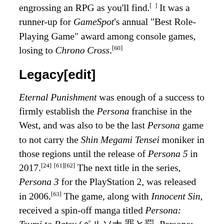engrossing an RPG as you'll find.[...] It was a runner-up for GameSpot's annual "Best Role-Playing Game" award among console games, losing to Chrono Cross.[60]
Legacy[edit]
Eternal Punishment was enough of a success to firmly establish the Persona franchise in the West, and was also to be the last Persona game to not carry the Shin Megami Tensei moniker in those regions until the release of Persona 5 in 2017.[24][61][62] The next title in the series, Persona 3 for the PlayStation 2, was released in 2006.[63] The game, along with Innocent Sin, received a spin-off manga titled Persona: Tsumi to Batsu (ペルソナ 罪と罰, Persona: Sin and Punishment), featuring new